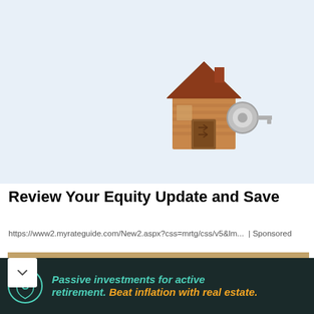[Figure (illustration): Light blue banner advertisement showing a wooden house with a key illustration on the right side]
Review Your Equity Update and Save
https://www2.myrateguide.com/New2.aspx?css=mrtg/css/v5&lm... | Sponsored
[Figure (photo): Partial photo showing a person wearing a hat against a sandy/stone textured background]
[Figure (logo): Dark banner advertisement with circular logo showing a shield/compass icon. Text: Passive investments for active retirement. Beat inflation with real estate.]